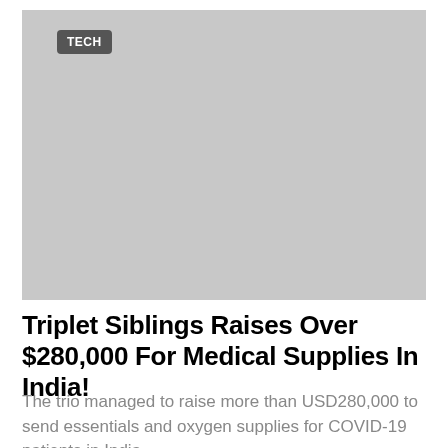[Figure (photo): Gray placeholder image area with a TECH category badge in the top-left corner]
Triplet Siblings Raises Over $280,000 For Medical Supplies In India!
The trio managed to raise more than USD280,000 to send essentials and oxygen supplies for COVID-19 patients in India.